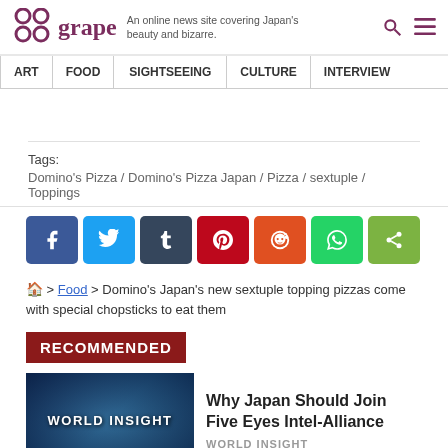grape - An online news site covering Japan's beauty and bizarre.
ART | FOOD | SIGHTSEEING | CULTURE | INTERVIEW
Tags: Domino's Pizza / Domino's Pizza Japan / Pizza / sextuple / Toppings
[Figure (infographic): Social sharing buttons: Facebook, Twitter, Tumblr, Pinterest, Reddit, WhatsApp, Share]
Home > Food > Domino's Japan's new sextuple topping pizzas come with special chopsticks to eat them
RECOMMENDED
Why Japan Should Join Five Eyes Intel-Alliance
WORLD INSIGHT